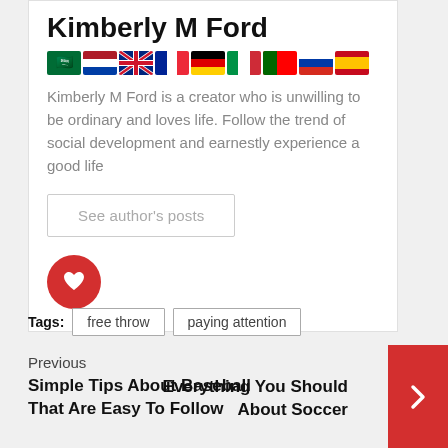Kimberly M Ford
[Figure (illustration): Row of country flag emoji icons: Saudi Arabia, Netherlands, UK, France, Germany, Italy, Portugal, Russia, Spain]
Kimberly M Ford is a creator who is unwilling to be ordinary and loves life. Follow the trend of social development and earnestly experience a good life
See author's posts
[Figure (illustration): Red circle with white heart icon]
Tags: free throw | paying attention
Previous
Simple Tips About Baseball That Are Easy To Follow
Everything You Should About Soccer